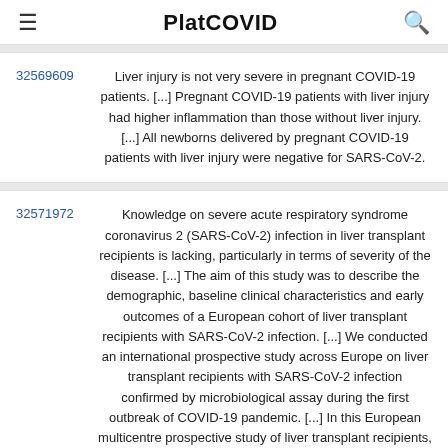PlatCOVID
32569609 — Liver injury is not very severe in pregnant COVID-19 patients. [...] Pregnant COVID-19 patients with liver injury had higher inflammation than those without liver injury. [...] All newborns delivered by pregnant COVID-19 patients with liver injury were negative for SARS-CoV-2.
32571972 — Knowledge on severe acute respiratory syndrome coronavirus 2 (SARS-CoV-2) infection in liver transplant recipients is lacking, particularly in terms of severity of the disease. [...] The aim of this study was to describe the demographic, baseline clinical characteristics and early outcomes of a European cohort of liver transplant recipients with SARS-CoV-2 infection. [...] We conducted an international prospective study across Europe on liver transplant recipients with SARS-CoV-2 infection confirmed by microbiological assay during the first outbreak of COVID-19 pandemic. [...] In this European multicentre prospective study of liver transplant recipients,